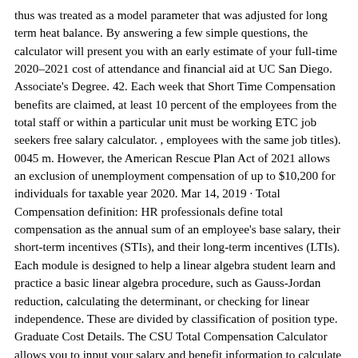thus was treated as a model parameter that was adjusted for long term heat balance. By answering a few simple questions, the calculator will present you with an early estimate of your full-time 2020–2021 cost of attendance and financial aid at UC San Diego. Associate's Degree. 42. Each week that Short Time Compensation benefits are claimed, at least 10 percent of the employees from the total staff or within a particular unit must be working ETC job seekers free salary calculator. , employees with the same job titles). 0045 m. However, the American Rescue Plan Act of 2021 allows an exclusion of unemployment compensation of up to $10,200 for individuals for taxable year 2020. Mar 14, 2019 · Total Compensation definition: HR professionals define total compensation as the annual sum of an employee's base salary, their short-term incentives (STIs), and their long-term incentives (LTIs). Each module is designed to help a linear algebra student learn and practice a basic linear algebra procedure, such as Gauss-Jordan reduction, calculating the determinant, or checking for linear independence. These are divided by classification of position type. Graduate Cost Details. The CSU Total Compensation Calculator allows you to input your salary and benefit information to calculate the total California State University (CSU) compensation package. Services provided by HR Compensation include classification of new positions, reclassification of existing positions, analysis of internal equity and labor market survey data, establishment of salary ranges for staff classifications, creation and maintenance of